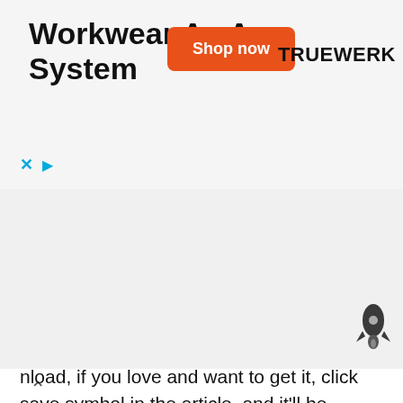Workwear As A System
[Figure (other): Shop now button for TRUEWERK brand advertisement]
…nload, if you love and want to get it, click save symbol in the article, and it'll be directly down loaded to your notebook computer. At last in order to grab new and recent graphic related with Daily Timesheet Excel Template , please follow us on google plus or book mark the site, we try our best to present you regular update